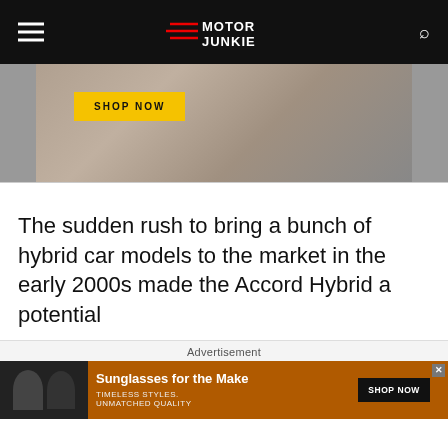Motor Junkie
[Figure (photo): Partial advertisement banner showing a woman with brown hair wearing a white shirt with a logo, with a 'SHOP NOW' button overlay]
The sudden rush to bring a bunch of hybrid car models to the market in the early 2000s made the Accord Hybrid a potential
Advertisement
[Figure (photo): Bottom advertisement showing two women wearing sunglasses with text 'Sunglasses for the Make', 'TIMELESS STYLES. UNMATCHED QUALITY', and a 'SHOP NOW' button]